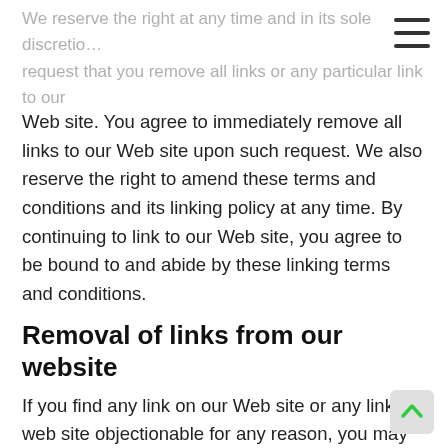We reserve the right at any time and in its sole discretion request that you remove all links or any particular link to our Web site. You agree to immediately remove all links to our Web site upon such request. We also reserve the right to amend these terms and conditions and its linking policy at any time. By continuing to link to our Web site, you agree to be bound to and abide by these linking terms and conditions.
Removal of links from our website
If you find any link on our Web site or any linked web site objectionable for any reason, you may contact us about this. We will consider requests to remove links but will have no obligation to do so or to respond directly to you.
Whilst we endeavour to ensure that the information on this website is correct, we do not warrant its completeness or accuracy; nor do we commit to ensuring that the website